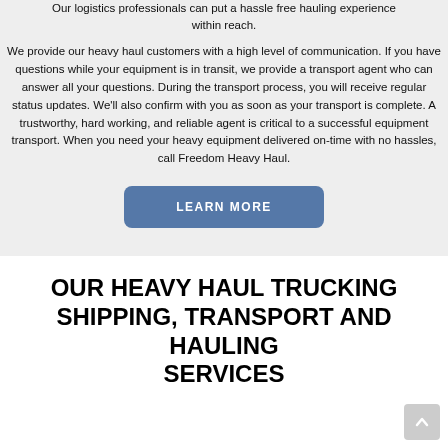Our logistics professionals can put a hassle free hauling experience within reach.
We provide our heavy haul customers with a high level of communication. If you have questions while your equipment is in transit, we provide a transport agent who can answer all your questions. During the transport process, you will receive regular status updates. We'll also confirm with you as soon as your transport is complete. A trustworthy, hard working, and reliable agent is critical to a successful equipment transport. When you need your heavy equipment delivered on-time with no hassles, call Freedom Heavy Haul.
LEARN MORE
OUR HEAVY HAUL TRUCKING SHIPPING, TRANSPORT AND HAULING SERVICES